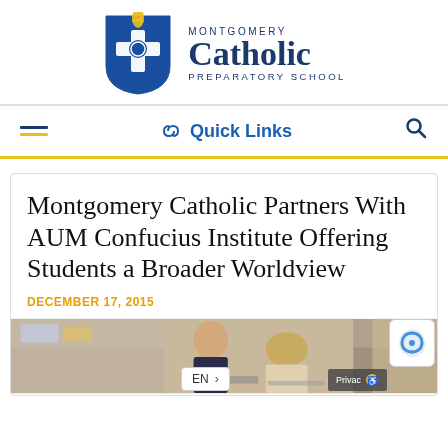[Figure (logo): Montgomery Catholic Preparatory School logo: blue shield with cross and torch flame, beside text 'MONTGOMERY Catholic PREPARATORY SCHOOL']
Quick Links
Montgomery Catholic Partners With AUM Confucius Institute Offering Students a Broader Worldview
DECEMBER 17, 2015
[Figure (photo): Students sitting at desks in a classroom, working on laptops or papers. A boy in school uniform is visible on the left side.]